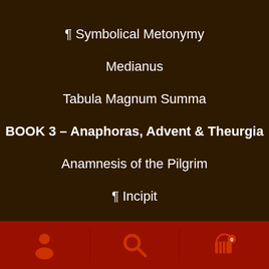¶ Symbolical Metonymy
Medianus
Tabula Magnum Summa
BOOK 3 – Anaphoras, Advent & Theurgia
Anamnesis of the Pilgrim
¶ Incipit
¶ Confession
Addendum: commentaries and expounding
Navigation bar with user, search, and cart icons